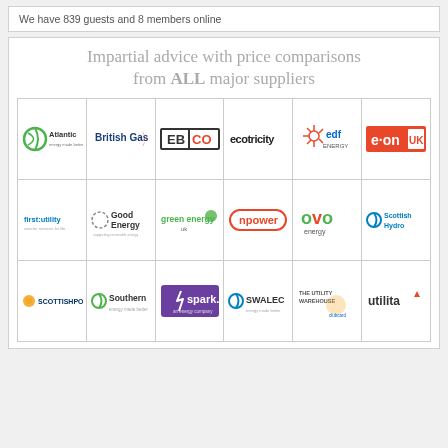We have 839 guests and 8 members online
Impartial advice with price comparisons from ALL major suppliers
[Figure (logo): Grid of 18 energy supplier logos: Atlantic, British Gas, EBICO, Ecotricity, EDF Energy, E.on UK, first:utility, Good Energy, green energy uk, npower, OVO energy, Scottish Hydro, ScottishPower, Southern, spark., SWALEC, The Utility Warehouse, utilita]